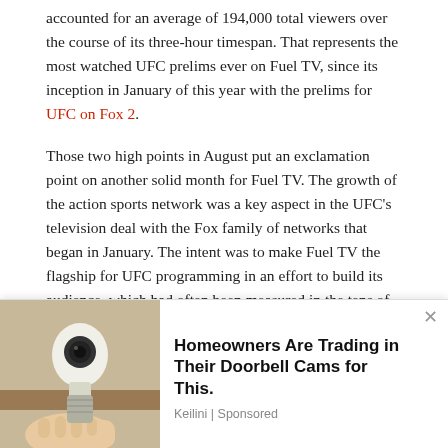accounted for an average of 194,000 total viewers over the course of its three-hour timespan. That represents the most watched UFC prelims ever on Fuel TV, since its inception in January of this year with the prelims for UFC on Fox 2.
Those two high points in August put an exclamation point on another solid month for Fuel TV. The growth of the action sports network was a key aspect in the UFC’s television deal with the Fox family of networks that began in January. The intent was to make Fuel TV the flagship for UFC programming in an effort to build its audience, which had often been measured in the tens of thousands at the best of times prior to adding the UFC into the mix.
Thus far, the strategy has paid off well.
In 2012, Fuel TV’s ratings have outperformed the corresponding week in 2011 for 35 weeks and eight months
[Figure (photo): Advertisement overlay: Photo of a hand holding a light-bulb shaped security camera device. Ad headline reads 'Homeowners Are Trading in Their Doorbell Cams for This.' Source: Keilini | Sponsored]